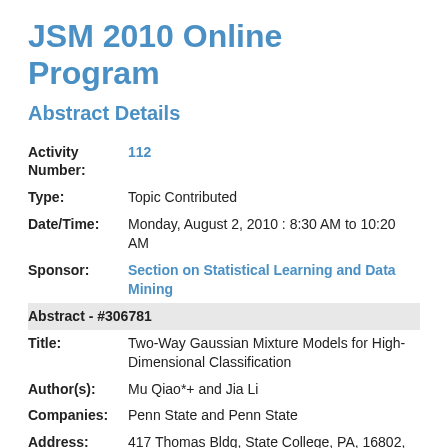JSM 2010 Online Program
Abstract Details
| Activity Number: | 112 |
| Type: | Topic Contributed |
| Date/Time: | Monday, August 2, 2010 : 8:30 AM to 10:20 AM |
| Sponsor: | Section on Statistical Learning and Data Mining |
| Abstract - #306781 |  |
| Title: | Two-Way Gaussian Mixture Models for High-Dimensional Classification |
| Author(s): | Mu Qiao*+ and Jia Li |
| Companies: | Penn State and Penn State |
| Address: | 417 Thomas Bldg, State College, PA, 16802, |
Two-way mixture models Mixture of...